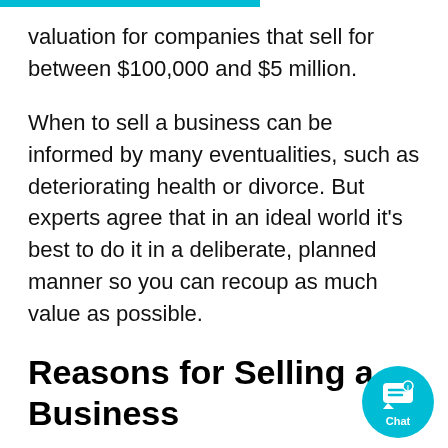valuation for companies that sell for between $100,000 and $5 million.
When to sell a business can be informed by many eventualities, such as deteriorating health or divorce. But experts agree that in an ideal world it's best to do it in a deliberate, planned manner so you can recoup as much value as possible.
Reasons for Selling a Business
Prearranged plans, the market, and life circumstances can all dictate when it's time to sell a business. Best-case